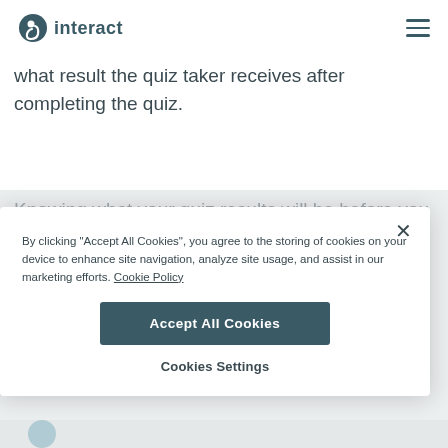interact
what result the quiz taker receives after completing the quiz.
Knowing what your quiz results will be before you
By clicking "Accept All Cookies", you agree to the storing of cookies on your device to enhance site navigation, analyze site usage, and assist in our marketing efforts. Cookie Policy
Accept All Cookies
Cookies Settings